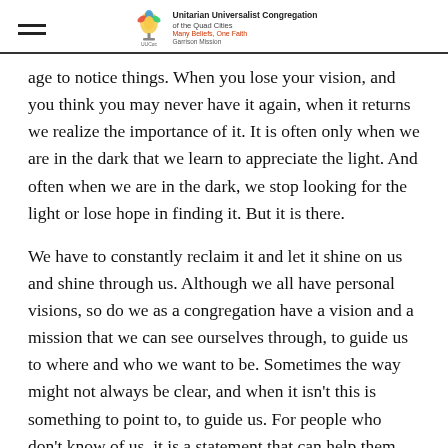Unitarian Universalist Congregation of the Quad Cities — Many Beliefs, One Faith — Garrison Mission
age to notice things. When you lose your vision, and you think you may never have it again, when it returns we realize the importance of it. It is often only when we are in the dark that we learn to appreciate the light. And often when we are in the dark, we stop looking for the light or lose hope in finding it. But it is there.
We have to constantly reclaim it and let it shine on us and shine through us. Although we all have personal visions, so do we as a congregation have a vision and a mission that we can see ourselves through, to guide us to where and who we want to be. Sometimes the way might not always be clear, and when it isn't this is something to point to, to guide us. For people who don't know of us, it is a statement that can help them discern, if this congregation is in line with their religious and spiritual journey. I think every action we take as a congregation should be an act that fulfills the vision and mission of this congregation. And if it doesn't, we should